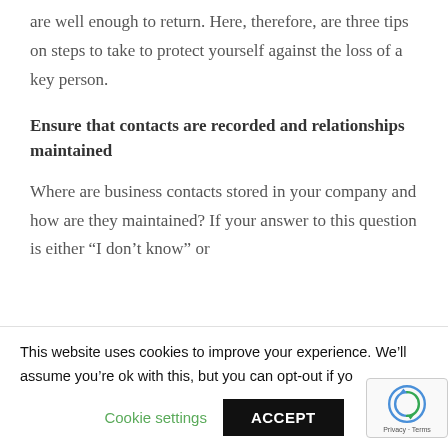are well enough to return. Here, therefore, are three tips on steps to take to protect yourself against the loss of a key person.
Ensure that contacts are recorded and relationships maintained
Where are business contacts stored in your company and how are they maintained? If your answer to this question is either “I don’t know” or
This website uses cookies to improve your experience. We’ll assume you’re ok with this, but you can opt-out if yo